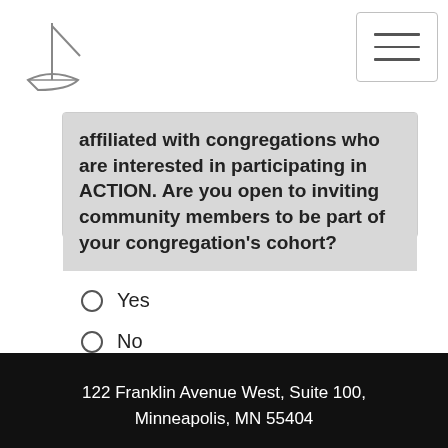[Figure (logo): Boat/ship logo sketch in gray]
affiliated with congregations who are interested in participating in ACTION. Are you open to inviting community members to be part of your congregation's cohort?
Yes
No
Submit Form
122 Franklin Avenue West, Suite 100, Minneapolis, MN 55404